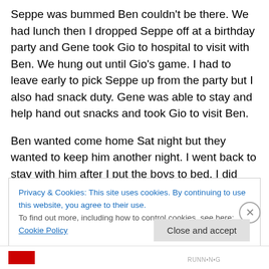Seppe was bummed Ben couldn't be there. We had lunch then I dropped Seppe off at a birthday party and Gene took Gio to hospital to visit with Ben. We hung out until Gio's game. I had to leave early to pick Seppe up from the party but I also had snack duty. Gene was able to stay and help hand out snacks and took Gio to visit Ben.
Ben wanted come home Sat night but they wanted to keep him another night. I went back to stay with him after I put the boys to bed. I did yoga and my plank before heading back to the hospital. Ben fell asleep soon after they have
Privacy & Cookies: This site uses cookies. By continuing to use this website, you agree to their use.
To find out more, including how to control cookies, see here: Cookie Policy